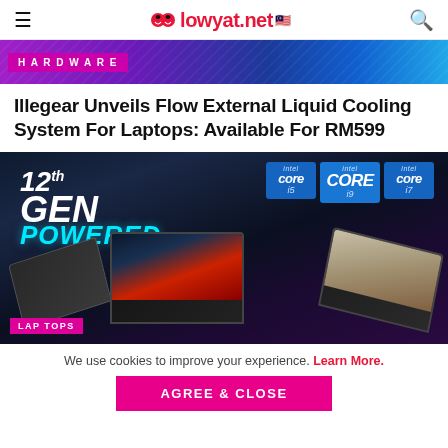lowyat.net
[Figure (photo): Hardware category banner with purple/blue gradient background and neon circuit lines]
Illegear Unveils Flow External Liquid Cooling System For Laptops: Available For RM599
[Figure (photo): Promotional image showing three gaming laptops powered by 12th Gen Intel Core i5, i9, i7 processors against a dark sci-fi background. Text reads '12th GEN POWERED'. A LAPTOPS label is shown at bottom left.]
We use cookies to improve your experience. Learn More.
AGREE & CLOSE